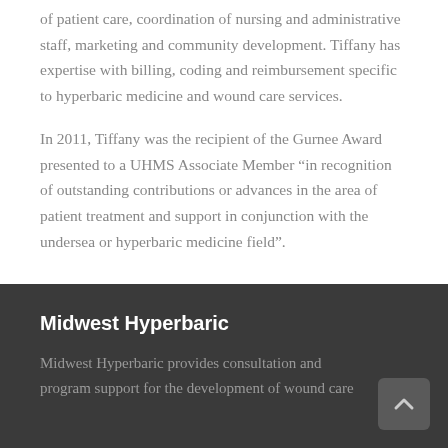of patient care, coordination of nursing and administrative staff, marketing and community development. Tiffany has expertise with billing, coding and reimbursement specific to hyperbaric medicine and wound care services.
In 2011, Tiffany was the recipient of the Gurnee Award presented to a UHMS Associate Member “in recognition of outstanding contributions or advances in the area of patient treatment and support in conjunction with the undersea or hyperbaric medicine field”.
Midwest Hyperbaric
Midwest Hyperbaric provides consultation and program support for the development of wound care